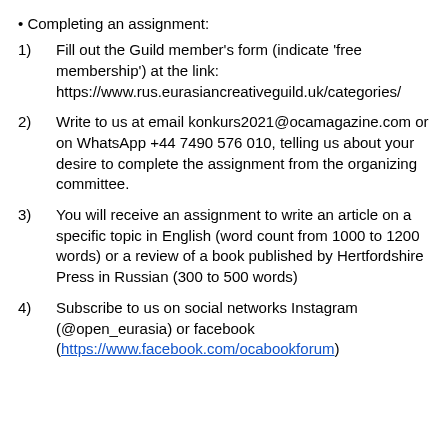• Completing an assignment:
1) Fill out the Guild member's form (indicate 'free membership') at the link: https://www.rus.eurasiancreativeguild.uk/categories/
2) Write to us at email konkurs2021@ocamagazine.com or on WhatsApp +44 7490 576 010, telling us about your desire to complete the assignment from the organizing committee.
3) You will receive an assignment to write an article on a specific topic in English (word count from 1000 to 1200 words) or a review of a book published by Hertfordshire Press in Russian (300 to 500 words)
4) Subscribe to us on social networks Instagram (@open_eurasia) or facebook (https://www.facebook.com/ocabookforum)